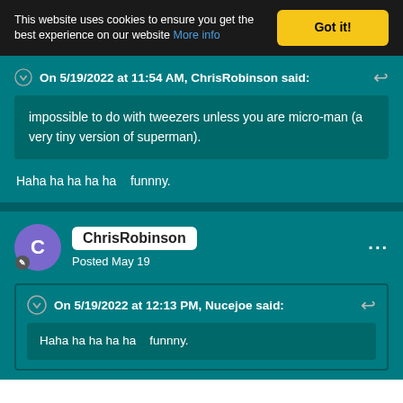This website uses cookies to ensure you get the best experience on our website More info
Got it!
On 5/19/2022 at 11:54 AM, ChrisRobinson said:
impossible to do with tweezers unless you are micro-man (a very tiny version of superman).
Haha ha ha ha ha   funnny.
ChrisRobinson
Posted May 19
On 5/19/2022 at 12:13 PM, Nucejoe said:
Haha ha ha ha ha   funnny.